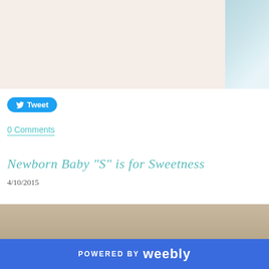[Figure (photo): Top banner area with light pink/cream background on the left and a light blue striped fabric or background on the right]
Tweet
0 Comments
Newborn Baby "S" is for Sweetness
4/10/2015
It truly is a blessing to be able to take newborn baby photos. I love being able to... that came to visit me is especially special to me. Mommy is like a sister and I c... blessed with this sweet little girl. Thank you to the family for taking your time... got to spend with you. Your new sweet gi...
[Figure (photo): Bottom partial photo showing a light brown/beige textured surface]
POWERED BY weebly